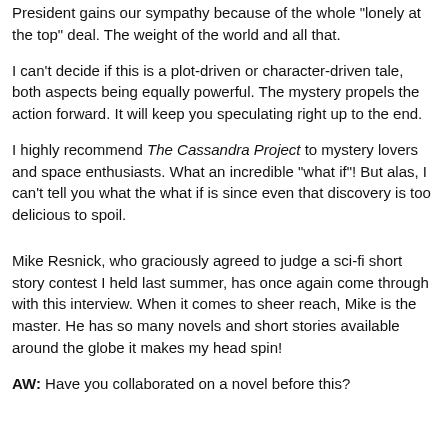President gains our sympathy because of the whole "lonely at the top" deal. The weight of the world and all that.
I can't decide if this is a plot-driven or character-driven tale, both aspects being equally powerful. The mystery propels the action forward. It will keep you speculating right up to the end.
I highly recommend The Cassandra Project to mystery lovers and space enthusiasts. What an incredible "what if"! But alas, I can't tell you what the what if is since even that discovery is too delicious to spoil.
Mike Resnick, who graciously agreed to judge a sci-fi short story contest I held last summer, has once again come through with this interview. When it comes to sheer reach, Mike is the master. He has so many novels and short stories available around the globe it makes my head spin!
AW:  Have you collaborated on a novel before this?